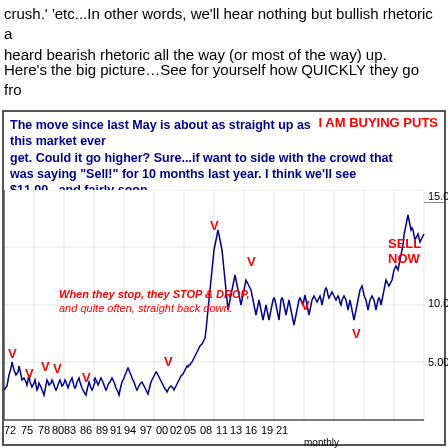crush.' 'etc...In other words, we'll hear nothing but bullish rhetoric and heard bearish rhetoric all the way (or most of the way) up.
Here's the big picture…See for yourself how QUICKLY they go from
[Figure (continuous-plot): Line chart showing soybean futures prices from 1972 to 2021 on a monthly basis. The chart shows several price spikes marked with red 'V' symbols indicating tops. Annotations include 'When they stop, they STOP & DROP, and quite often, straight back down.' in red italic, and 'SELL NOW' in red at the right side. Y-axis shows values 5.00, 10.00, 15.00. X-axis shows years: 72 75 78 80 83 86 89 91 94 97 00 02 05 08 11 13 16 19 21. Commentary box at top says 'The move since last May is about as straight up as this market ever get. Could it go higher? Sure...if want to side with the crowd that was saying Sell! for 10 months last year. I think we'll see $11.00...and fairly soon.' with 'I AM BUYING PUTS' in red.]